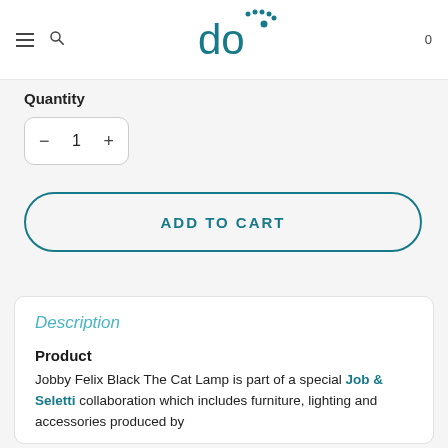do (logo) — navigation with hamburger, search, cart (0)
Quantity
[Figure (other): Quantity stepper control showing minus button, value 1, and plus button]
ADD TO CART
Description
Product
Jobby Felix Black The Cat Lamp is part of a special Job & Seletti collaboration which includes furniture, lighting and accessories produced by